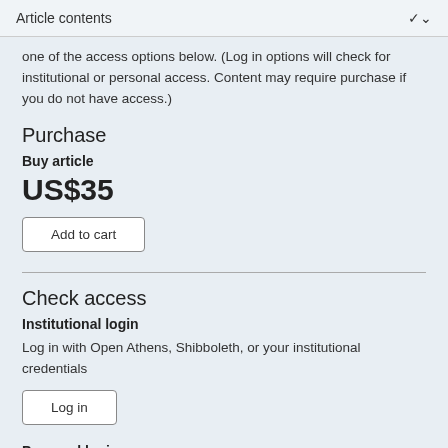Article contents
one of the access options below. (Log in options will check for institutional or personal access. Content may require purchase if you do not have access.)
Purchase
Buy article
US$35
Add to cart
Check access
Institutional login
Log in with Open Athens, Shibboleth, or your institutional credentials
Log in
Personal login